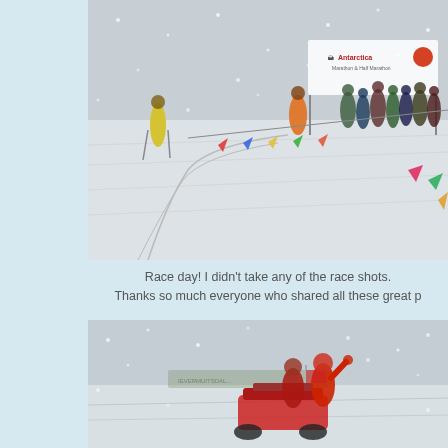[Figure (photo): Snowy race course scene for Antarctica Marathon. Runners gathered at start/finish area with an 'Antarctica Marathon & Half Marathon' banner visible. Colorful flags line the snowy track. One runner in yellow jacket visible on the left. Snowfall and overcast conditions.]
Race day! I didn't take any of the race shots. Thanks so much everyone who shared all these great p
[Figure (photo): Snowy scene with people on or near a snowmobile/ATV in heavy snowfall. People wearing red winter gear. Some text/signage visible in the blurry background.]